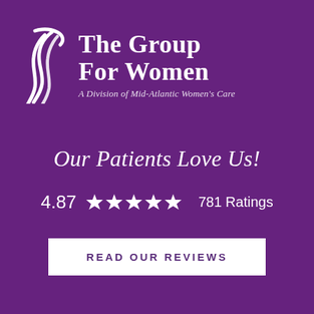[Figure (logo): The Group For Women logo with stylized hair/wave icon and text 'The Group For Women - A Division of Mid-Atlantic Women's Care']
Our Patients Love Us!
4.87 ★★★★★ 781 Ratings
READ OUR REVIEWS